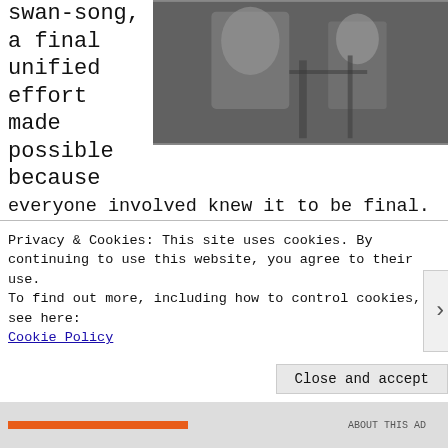swan-song, a final unified effort made possible because everyone involved knew it to be final. Allan K assiduously about this in issue #241 of Beatl arguments for and against the claim will not is true that the album works well as a final a End' closing the Beatles' career with the nea couplet, 'And in the end, the love you take / make'. What tends to be forgotten when this is that 'The End' is not how Abbey Road end
[Figure (photo): Black and white photograph of people, likely musicians, partially visible in upper right]
Privacy & Cookies: This site uses cookies. By continuing to use this website, you agree to their use.
To find out more, including how to control cookies, see here: Cookie Policy
Close and accept